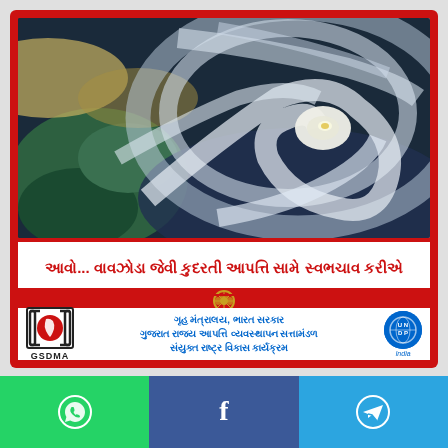[Figure (photo): Satellite aerial view of a hurricane/cyclone showing the eye of the storm from space, with green landmass visible on the left and swirling cloud formations]
આવો... વાવઝોડા જેવી કુદરતી આપત્તિ સામે સ્વભચાવ કરીએ
[Figure (logo): India Government Emblem (Ashoka Chakra) in gold]
ગૃહ મંત્રાલય, ભારત સરકાર
ગુજરાત રાજ્ય આપત્તિ વ્યવસ્થાપન સત્તામંડળ
સંયુક્ત રાષ્ટ્ર વિકાસ કાર્યક્રમ
[Figure (logo): GSDMA logo - Gujarat State Disaster Management Authority]
[Figure (logo): UNDP India logo - United Nations Development Programme]
[Figure (infographic): Social media share bar with WhatsApp (green), Facebook (blue), and Telegram (light blue) icons]